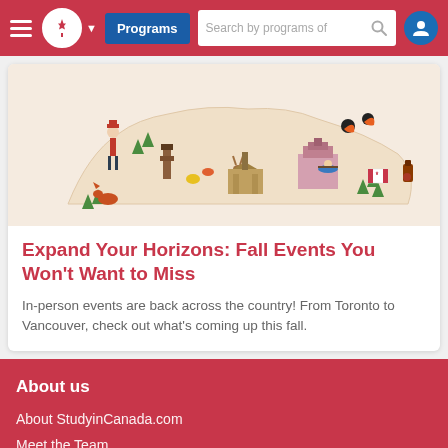Programs | Search by programs of
[Figure (illustration): Illustrated map of Canada with cultural icons including a Mountie, totem pole, moose, puffins, buildings, trees, and other Canadian symbols]
Expand Your Horizons: Fall Events You Won't Want to Miss
In-person events are back across the country! From Toronto to Vancouver, check out what's coming up this fall.
About us
About StudyinCanada.com
Meet the Team